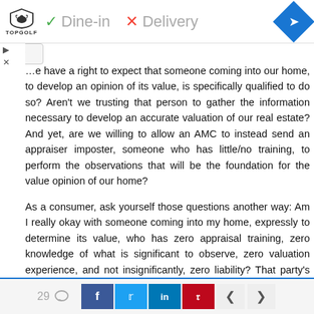[Figure (screenshot): Advertisement banner for Topgolf showing logo, green checkmark 'Dine-in', red X 'Delivery', and a blue navigation diamond icon]
…e have a right to expect that someone coming into our home, to develop an opinion of its value, is specifically qualified to do so? Aren't we trusting that person to gather the information necessary to develop an accurate valuation of our real estate? And yet, are we willing to allow an AMC to instead send an appraiser imposter, someone who has little/no training, to perform the observations that will be the foundation for the value opinion of our home?
As a consumer, ask yourself those questions another way: Am I really okay with someone coming into my home, expressly to determine its value, who has zero appraisal training, zero knowledge of what is significant to observe, zero valuation experience, and not insignificantly, zero liability? That party's only accountability is to hand over their gathered info to an experienced appraiser who will then do their best,
29 [comments] [Facebook] [Twitter] [LinkedIn] [Pinterest] [< >]